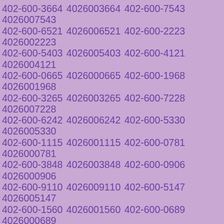402-600-3664 4026003664 402-600-7543 4026007543 402-600-6521 4026006521 402-600-2223 4026002223 402-600-5403 4026005403 402-600-4121 4026004121 402-600-0665 4026000665 402-600-1968 4026001968 402-600-3265 4026003265 402-600-7228 4026007228 402-600-6242 4026006242 402-600-5330 4026005330 402-600-1115 4026001115 402-600-0781 4026000781 402-600-3848 4026003848 402-600-0906 4026000906 402-600-9110 4026009110 402-600-5147 4026005147 402-600-1560 4026001560 402-600-0689 4026000689 402-600-9654 4026009654 402-600-1220 4026001220 402-600-8737 4026008737 402-600-5552 4026005552 402-600-5808 4026005808 402-600-9500 4026009500 402-600-3721 4026003721 402-600-5657 4026005657 402-600-0740 4026000740 402-600-5937 4026005937 402-600-1770 4026001770 402-600-5810 4026005810 402-600-0200 4026000200 402-600-7339 4026007339 402-600-7011 4026007011 402-600-6407 4026006407 402-600-7266 4026007266 402-600-3577 4026003577 402-600-2174 4026002174 402-600-5489 4026005489